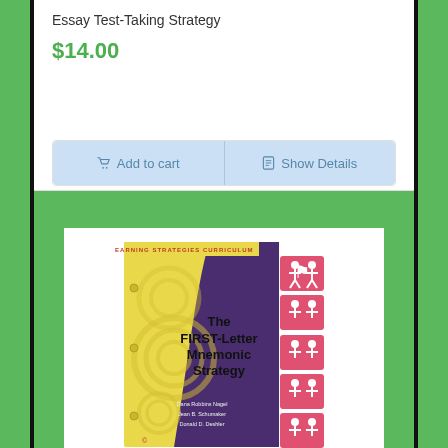Essay Test-Taking Strategy
$14.00
Add to cart
Show Details
[Figure (photo): Book cover of 'The FIRST-Letter Mnemonic Strategy' from the Learning Strategies Curriculum series by Dana Robbins Nagel, Jean B. Schumaker, Donald D. Deshler. Yellow and purple cover design with decorative swirls and six pink square icons on the right side showing stylized human figures.]